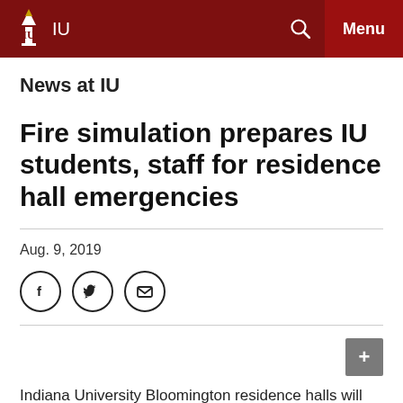IU | News at IU | Menu
News at IU
Fire simulation prepares IU students, staff for residence hall emergencies
Aug. 9, 2019
Indiana University Bloomington residence halls will be